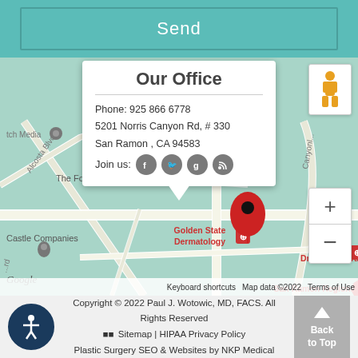[Figure (screenshot): A teal/green Send button area at the top of the page]
[Figure (map): Google Maps screenshot showing San Ramon, CA area with office popup showing phone: 925 866 6778, address: 5201 Norris Canyon Rd, #330, San Ramon, CA 94583, and social media icons. Map shows Golden State Dermatology, Tri-Valley Orthopedic Spec, Dr. Aimee Eyvazzadeh, San Ramon Regional Medical Center markers.]
Copyright © 2022 Paul J. Wotowic, MD, FACS. All Rights Reserved Sitemap | HIPAA Privacy Policy Plastic Surgery SEO & Websites by NKP Medical